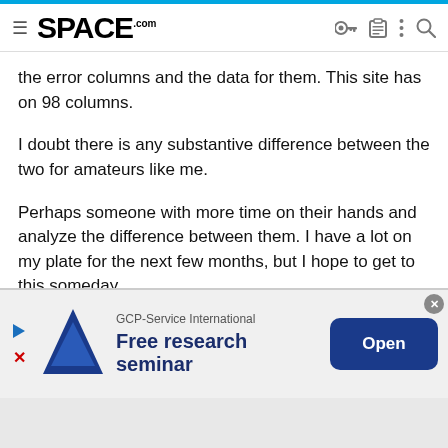SPACE.com
the error columns and the data for them. This site has on 98 columns.
I doubt there is any substantive difference between the two for amateurs like me.
Perhaps someone with more time on their hands and analyze the difference between them. I have a lot on my plate for the next few months, but I hope to get to this someday.
The NASA page to go to in order to obtain the download is: Nasa Exoplanet Download page. [see "Download Table" in the header.]
[Figure (other): Advertisement banner for GCP-Service International Free research seminar with blue triangle logo and Open button]